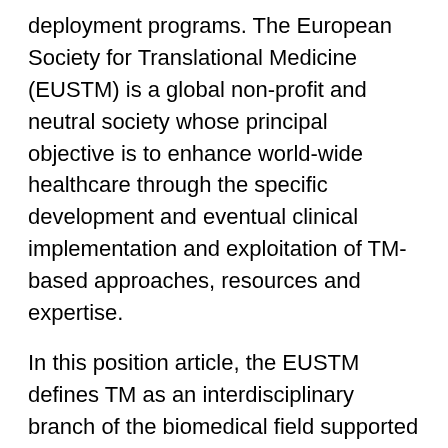deployment programs. The European Society for Translational Medicine (EUSTM) is a global non-profit and neutral society whose principal objective is to enhance world-wide healthcare through the specific development and eventual clinical implementation and exploitation of TM-based approaches, resources and expertise.
In this position article, the EUSTM defines TM as an interdisciplinary branch of the biomedical field supported by three main pillars: benchside, bedside and community. The goal of TM is to combine disciplines, resources, expertise, and techniques within these pillars to promote enhancements in prevention, diagnosis, and therapies. Accordingly, TM is a highly interdisciplinary field, the primary goal of which is to coalesce assets of various natures within the individual pillars in order to improve the global health care, to identify the...